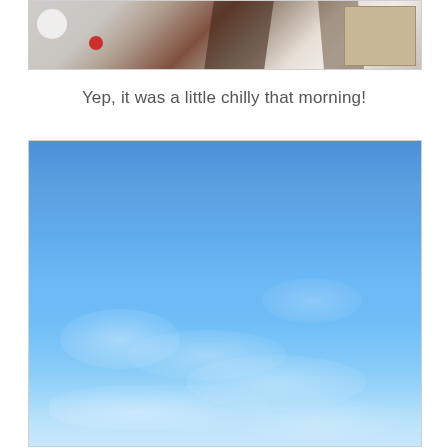[Figure (photo): Partial view of an indoor scene showing white walls, a dark wooden beam or furniture piece, and a white rounded object on the left with a small red circular item, and a wooden furniture piece on the right.]
Yep, it was a little chilly that morning!
[Figure (photo): Photograph of a clear blue sky with faint wispy clouds and a slight haze near the horizon.]